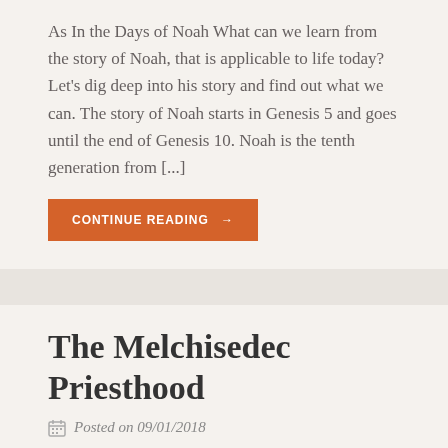As In the Days of Noah What can we learn from the story of Noah, that is applicable to life today? Let's dig deep into his story and find out what we can. The story of Noah starts in Genesis 5 and goes until the end of Genesis 10. Noah is the tenth generation from [...]
CONTINUE READING →
The Melchisedec Priesthood
Posted on 09/01/2018
The Melchisedec Priesthood Helping us Understand the Difference Between The Book of the Covenant and The Book of the Law Have you ever wondered what the